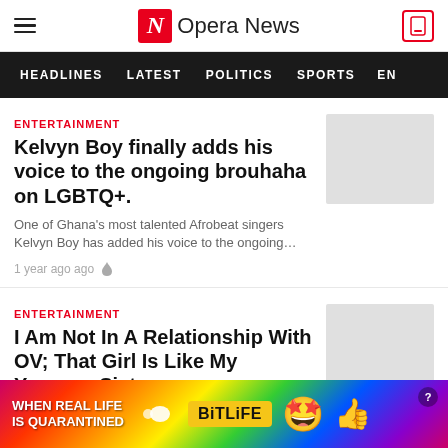Opera News
HEADLINES  LATEST  POLITICS  SPORTS  EN
ENTERTAINMENT
Kelvyn Boy finally adds his voice to the ongoing brouhaha on LGBTQ+.
One of Ghana's most talented Afrobeat singers Kelvyn Boy has added his voice to the ongoing…
1 year ago ago
ENTERTAINMENT
I Am Not In A Relationship With OV; That Girl Is Like My Younger Sister…
Ghanaian afro pop singer and en… ur Kelvyn
[Figure (infographic): BitLife advertisement banner with rainbow background, text 'WHEN REAL LIFE IS QUARANTINED', BitLife logo, star-eyes emoji and thumbs up emoji, question mark circle]